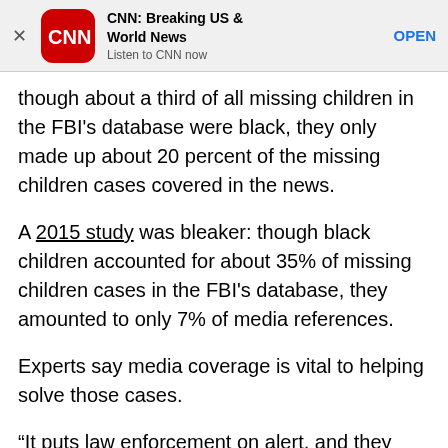[Figure (other): CNN app advertisement banner with CNN logo, title 'CNN: Breaking US & World News', subtitle 'Listen to CNN now', and an OPEN button]
though about a third of all missing children in the FBI's database were black, they only made up about 20 percent of the missing children cases covered in the news.
A 2015 study was bleaker: though black children accounted for about 35% of missing children cases in the FBI's database, they amounted to only 7% of media references.
Experts say media coverage is vital to helping solve those cases.
“It puts law enforcement on alert, and they add additional resources to the case,” Wilson said. “If no